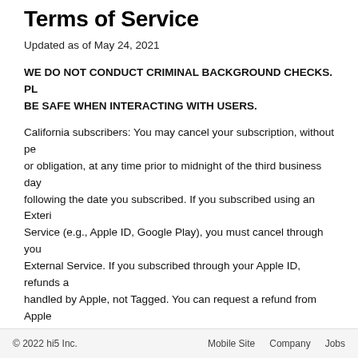Terms of Service
Updated as of May 24, 2021
WE DO NOT CONDUCT CRIMINAL BACKGROUND CHECKS. PLEASE BE SAFE WHEN INTERACTING WITH USERS.
California subscribers: You may cancel your subscription, without penalty or obligation, at any time prior to midnight of the third business day following the date you subscribed. If you subscribed using an External Service (e.g., Apple ID, Google Play), you must cancel through your External Service. If you subscribed through your Apple ID, refunds are handled by Apple, not Tagged. You can request a refund from Apple through your Apple ID account on your phone or at https://getsupport.apple.com. All other users may request a refund by contacting Tagged Member Services at support@themeetgroup.com or by mailing or delivering a signed and dated notice that states that you, the buyer, are canceling this agreement, or words of similar effect. Please also include your name and the email address, phone number, or other unique identifier you used to sign up for your account. This notice shall be sent to: The Meet Group, Attn: Cancellations, 100 Union Square Dr
© 2022 hi5 Inc.    Mobile Site    Company    Jobs